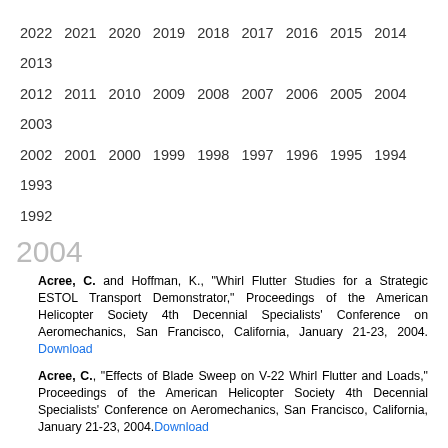2022 2021 2020 2019 2018 2017 2016 2015 2014 2013 2012 2011 2010 2009 2008 2007 2006 2005 2004 2003 2002 2001 2000 1999 1998 1997 1996 1995 1994 1993 1992
2004
Acree, C. and Hoffman, K., "Whirl Flutter Studies for a Strategic ESTOL Transport Demonstrator," Proceedings of the American Helicopter Society 4th Decennial Specialists' Conference on Aeromechanics, San Francisco, California, January 21-23, 2004. Download
Acree, C., "Effects of Blade Sweep on V-22 Whirl Flutter and Loads," Proceedings of the American Helicopter Society 4th Decennial Specialists' Conference on Aeromechanics, San Francisco, California, January 21-23, 2004.Download
Acree, C.W., ...